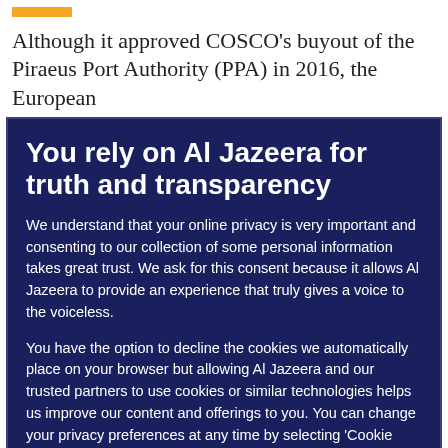Although it approved COSCO's buyout of the Piraeus Port Authority (PPA) in 2016, the European
You rely on Al Jazeera for truth and transparency
We understand that your online privacy is very important and consenting to our collection of some personal information takes great trust. We ask for this consent because it allows Al Jazeera to provide an experience that truly gives a voice to the voiceless.
You have the option to decline the cookies we automatically place on your browser but allowing Al Jazeera and our trusted partners to use cookies or similar technologies helps us improve our content and offerings to you. You can change your privacy preferences at any time by selecting 'Cookie preferences' at the bottom of your screen. To learn more, please view our Cookie Policy.